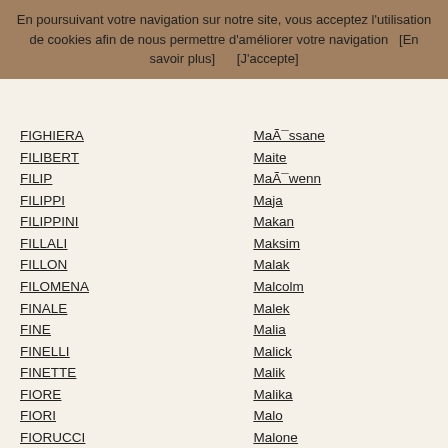En poursuivant votre navigation sur notre site, vous acceptez l'utilisation de cookies afin de nous permettre d'améliorer votre navigation   [En savoir plus]        [J'accepte]
FIGHIERA
FILIBERT
FILIP
FILIPPI
FILIPPINI
FILLALI
FILLON
FILOMENA
FINALE
FINE
FINELLI
FINETTE
FIORE
FIORI
FIORUCCI
FIQUIERE
FIRMIN
FIRPO
FITAMANT
FLANDIN
FLEURIEU (de)
FLEURY
MaÃ¯ssane
Maite
MaÃ¯wenn
Maja
Makan
Maksim
Malak
Malcolm
Malek
Malia
Malick
Malik
Malika
Malo
Malone
Mamadou
Mame
Mamou
Mamoudou
Manal
Manar
Manol